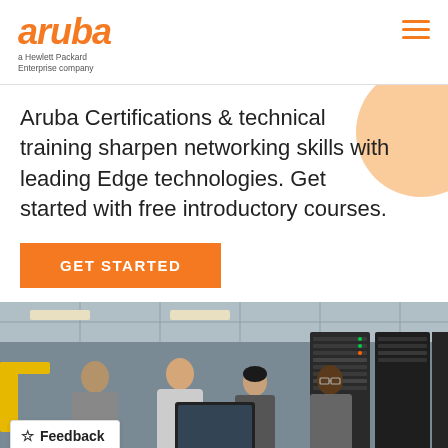aruba — a Hewlett Packard Enterprise company
Aruba Certifications & technical training sharpen networking skills with leading Edge technologies. Get started with free introductory courses.
GET STARTED
[Figure (photo): Four professionals (two men and a woman) looking at a laptop or document in a server room with tall dark server racks in the background. Overhead lighting and yellow crane/equipment visible.]
☆ Feedback